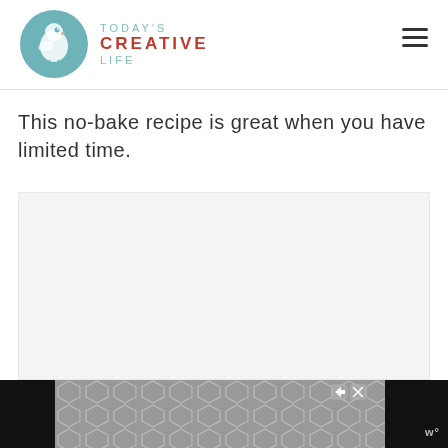[Figure (logo): Today's Creative Life logo with teal bird in circle and text: TODAY'S CREATIVE LIFE]
This no-bake recipe is great when you have limited time.
[Figure (photo): Large image placeholder with light gray background]
[Figure (other): Bottom ad bar with dark background, hexagon pattern advertisement, and Wordtune (w°) logo on right]